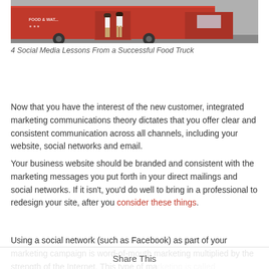[Figure (photo): Two people standing in front of a red food truck on a street]
4 Social Media Lessons From a Successful Food Truck
Now that you have the interest of the new customer, integrated marketing communications theory dictates that you offer clear and consistent communication across all channels, including your website, social networks and email.
Your business website should be branded and consistent with the marketing messages you put forth in your direct mailings and social networks. If it isn't, you'd do well to bring in a professional to redesign your site, after you consider these things.
Using a social network (such as Facebook) as part of your marketing campaign is word-of-mouth marketing multiplied by the strength of the Internet. This type of marketing is called relationship
Share This